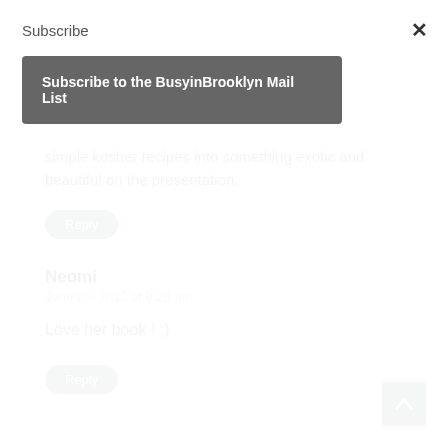Subscribe
×
Subscribe to the BusyinBrooklyn Mail List
simple kosher recipes into something exotic and beautiful on the presentation.
Reply
Neomi
June 20, 2013 at 9:26 am
Love her book ! :)
Reply